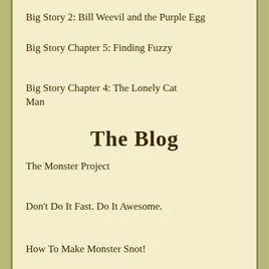Big Story 2: Bill Weevil and the Purple Egg
Big Story Chapter 5: Finding Fuzzy
Big Story Chapter 4: The Lonely Cat Man
The Blog
The Monster Project
Don't Do It Fast. Do It Awesome.
How To Make Monster Snot!